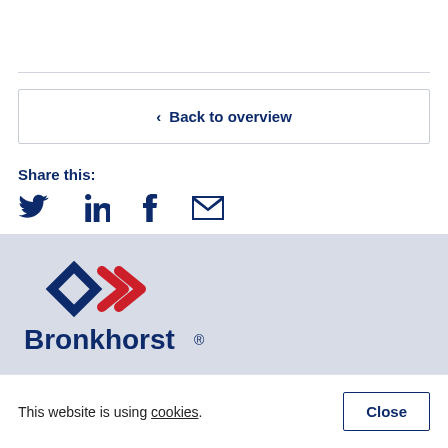‹ Back to overview
Share this:
[Figure (logo): Bronkhorst logo with diamond and arrow chevron symbol in blue and red, with company name Bronkhorst® in dark blue bold text]
This website is using cookies.
Close